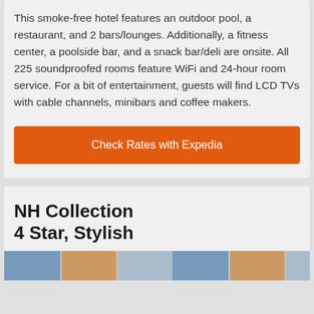This smoke-free hotel features an outdoor pool, a restaurant, and 2 bars/lounges. Additionally, a fitness center, a poolside bar, and a snack bar/deli are onsite. All 225 soundproofed rooms feature WiFi and 24-hour room service. For a bit of entertainment, guests will find LCD TVs with cable channels, minibars and coffee makers.
Check Rates with Expedia
NH Collection
4 Star, Stylish
[Figure (photo): Partial view of hotel photos strip at the bottom of the page]